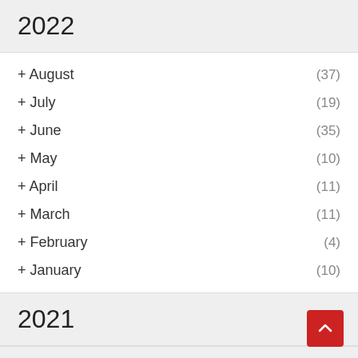2022
+ August (37)
+ July (19)
+ June (35)
+ May (10)
+ April (11)
+ March (11)
+ February (4)
+ January (10)
2021
2020
2019